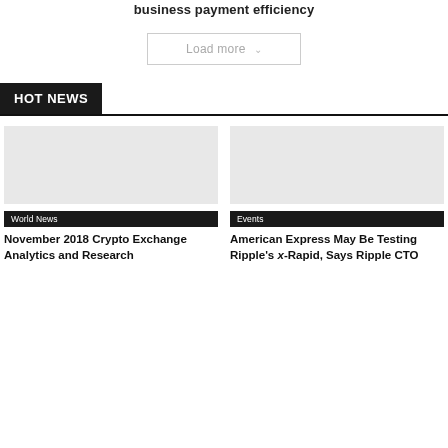business payment efficiency
Load more
HOT NEWS
[Figure (photo): Empty/placeholder image for World News article]
World News
November 2018 Crypto Exchange Analytics and Research
[Figure (photo): Empty/placeholder image for Events article]
Events
American Express May Be Testing Ripple's x-Rapid, Says Ripple CTO